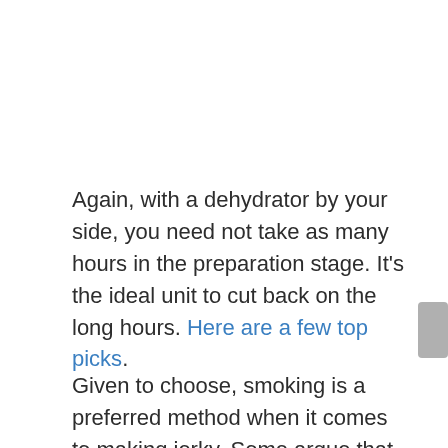Again, with a dehydrator by your side, you need not take as many hours in the preparation stage. It's the ideal unit to cut back on the long hours. Here are a few top picks.
Given to choose, smoking is a preferred method when it comes to making jerky. Some argue that coating with liquid smoke and using an oven renders tremendous results similar to a smoker box, but this is debatable. Nothing compares to the wood-infused flavor that catches on as the meat is...